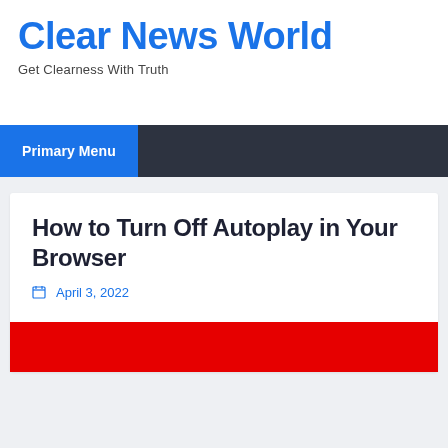Clear News World
Get Clearness With Truth
Primary Menu
How to Turn Off Autoplay in Your Browser
April 3, 2022